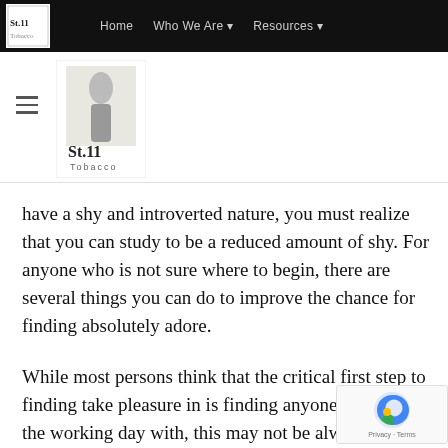Home   Who We Are   Resources
[Figure (logo): St. 11 Tobacco logo - small version in nav bar]
[Figure (logo): St. 11 Tobacco logo - larger version below nav]
have a shy and introverted nature, you must realize that you can study to be a reduced amount of shy. For anyone who is not sure where to begin, there are several things you can do to improve the chance for finding absolutely adore.
While most persons think that the critical first step to finding take pleasure in is finding anyone to spend the working day with, this may not be alway the case. To find the proper person, you